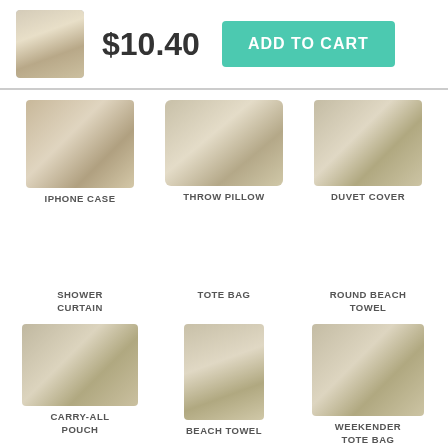[Figure (screenshot): Product mug with painting of Creation of Adam]
$10.40
ADD TO CART
[Figure (photo): iPhone Case with Creation of Adam painting]
IPHONE CASE
[Figure (photo): Throw Pillow with Creation of Adam painting]
THROW PILLOW
[Figure (photo): Duvet Cover with Creation of Adam painting]
DUVET COVER
SHOWER CURTAIN
TOTE BAG
ROUND BEACH TOWEL
[Figure (photo): Carry-All Pouch with Creation of Adam painting]
CARRY-ALL POUCH
[Figure (photo): Beach Towel with Creation of Adam painting]
BEACH TOWEL
[Figure (photo): Weekender Tote Bag with Creation of Adam painting]
WEEKENDER TOTE BAG